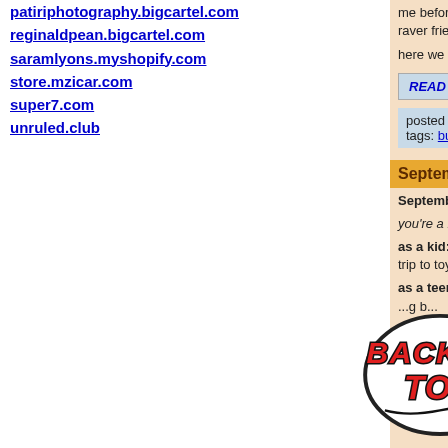patiriphotography.bigcartel.com
reginaldpean.bigcartel.com
saramlyons.myshopify.com
store.mzicar.com
super7.com
unruled.club
me before i even kne... raver friends (i had s...
here we go…
READ MORE...
posted in: #COVID
tags: buzz, christi...
September
September 5th, 202...
you're a bittersweet...
as a kid: i hated it be... trip to toysRus in dou...
as a teenager: i ha... ...g b... ...ew
...ething ... ch...d our frie... it was big, don't judd...
[Figure (illustration): Back To Top graffiti-style badge with red block letters on white background with black outline]